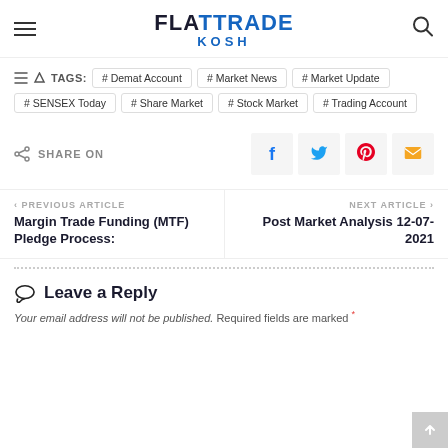FLATTRADE KOSH
TAGS: # Demat Account  # Market News  # Market Update  # SENSEX Today  # Share Market  # Stock Market  # Trading Account
SHARE ON
< PREVIOUS ARTICLE
Margin Trade Funding (MTF) Pledge Process:
NEXT ARTICLE >
Post Market Analysis 12-07-2021
Leave a Reply
Your email address will not be published. Required fields are marked *